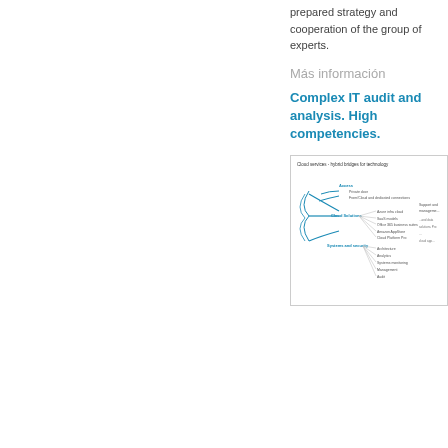prepared strategy and cooperation of the group of experts.
Más información
Complex IT audit and analysis. High competencies.
[Figure (infographic): Mind map diagram titled 'Cloud services - hybrid bridges for technology' showing branches for Access (Private door, from/Cloud and dedicated connections), Cloud Solutions (Azure, AWS cloud, SaaS, Office 365 business suites, Amazon AppStore, Cloud Platform Pro), Systems and security (Architecture, Analytics, Systems monitoring, Management, Audit), and Support and management (right side, partially visible).]